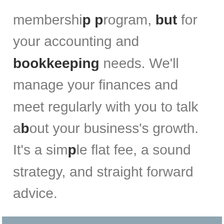membership program, but for your accounting and bookkeeping needs. We'll manage your finances and meet regularly with you to talk about your business's growth. It's a simple flat fee, a sound strategy, and straight forward advice.
Book Appointment Today
info@biz360plus.com
Toll Free : 877 287 3079